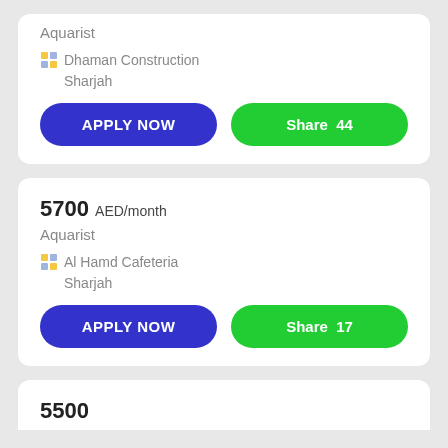Aquarist
Dhaman Construction
Sharjah
APPLY NOW
Share 44
5700 AED/month
Aquarist
Al Hamd Cafeteria
Sharjah
APPLY NOW
Share 17
5500